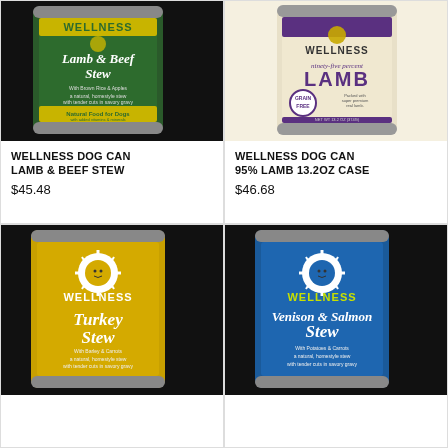[Figure (photo): Wellness Dog Can Lamb & Beef Stew product can on black background]
WELLNESS DOG CAN LAMB & BEEF STEW
$45.48
[Figure (photo): Wellness Dog Can 95% Lamb 13.2oz product can on white background]
WELLNESS DOG CAN 95% LAMB 13.2OZ CASE
$46.68
[Figure (photo): Wellness Turkey Stew dog food can on black background]
[Figure (photo): Wellness Venison & Salmon Stew dog food can on black background]